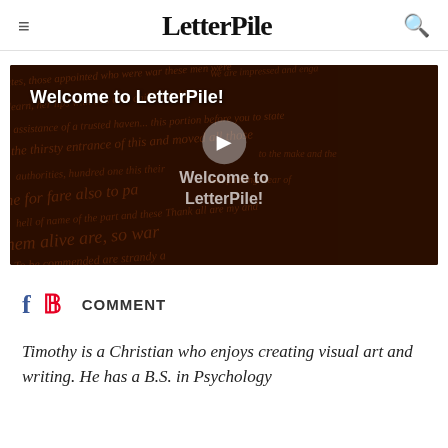LetterPile
[Figure (screenshot): Video thumbnail with dark background showing cursive handwriting text, title 'Welcome to LetterPile!' in white at top-left, and a play button overlay in the center with text 'Welcome to LetterPile!']
f  p  COMMENT
Timothy is a Christian who enjoys creating visual art and writing. He has a B.S. in Psychology